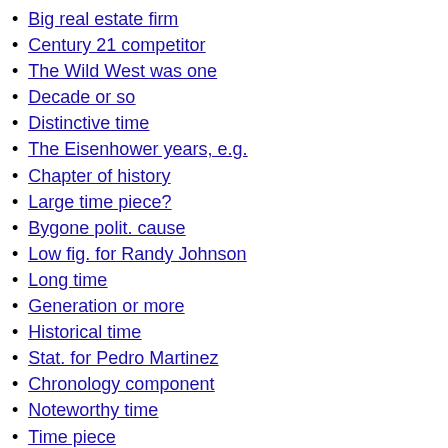Big real estate firm
Century 21 competitor
The Wild West was one
Decade or so
Distinctive time
The Eisenhower years, e.g.
Chapter of history
Large time piece?
Bygone polit. cause
Low fig. for Randy Johnson
Long time
Generation or more
Historical time
Stat. for Pedro Martinez
Chronology component
Noteworthy time
Time piece
Temporal stretch
It may have periods